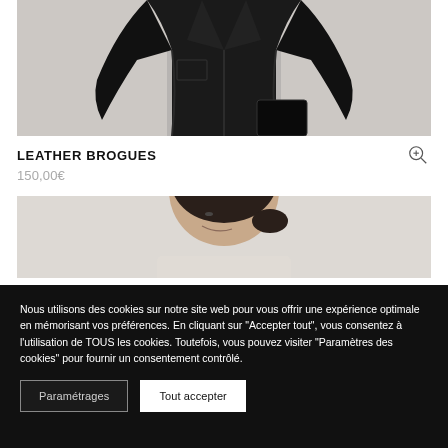[Figure (photo): Cropped photo of a person wearing a black leather jacket, white background, viewed from waist up, partially cut off]
LEATHER BROGUES
150,00€
[Figure (photo): Cropped photo of a young woman with dark hair pulled back, looking to the side, light background]
Nous utilisons des cookies sur notre site web pour vous offrir une expérience optimale en mémorisant vos préférences. En cliquant sur "Accepter tout", vous consentez à l'utilisation de TOUS les cookies. Toutefois, vous pouvez visiter "Paramètres des cookies" pour fournir un consentement contrôlé.
Paramétrages
Tout accepter